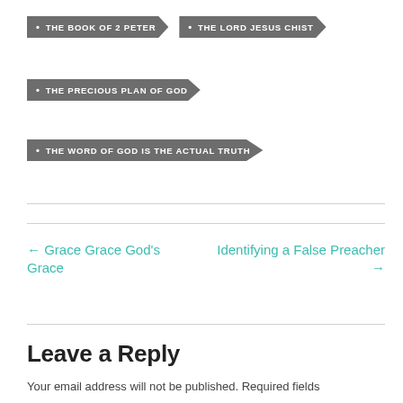THE BOOK OF 2 PETER
THE LORD JESUS CHIST
THE PRECIOUS PLAN OF GOD
THE WORD OF GOD IS THE ACTUAL TRUTH
← Grace Grace God's Grace
Identifying a False Preacher →
Leave a Reply
Your email address will not be published. Required fields